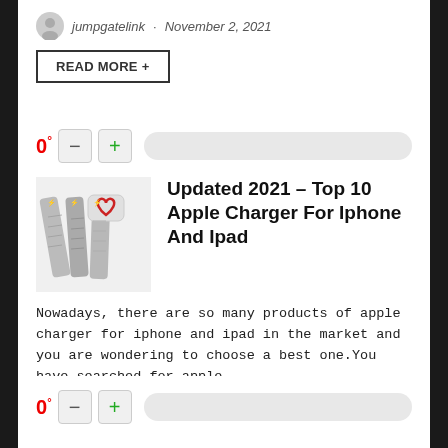jumpgatelink · November 2, 2021
READ MORE +
Updated 2021 – Top 10 Apple Charger For Iphone And Ipad
Nowadays, there are so many products of apple charger for iphone and ipad in the market and you are wondering to choose a best one.You have searched for apple ...
jumpgatelink · November 2, 2021
READ MORE +